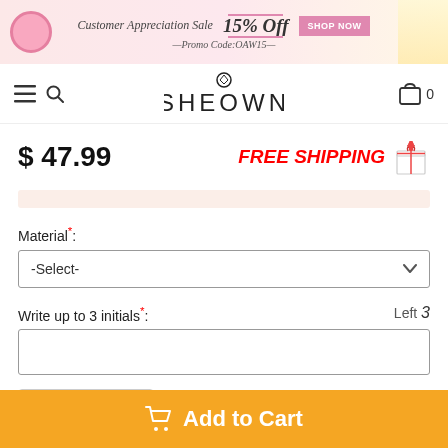[Figure (screenshot): Customer Appreciation Sale banner with 15% off promo code OAW15 and SHOP NOW button]
[Figure (logo): SHEOWN logo with diamond ring above the O]
$ 47.99
FREE SHIPPING
Material*:
-Select-
Write up to 3 initials*:
Left 3
- 1 +
Add to Cart